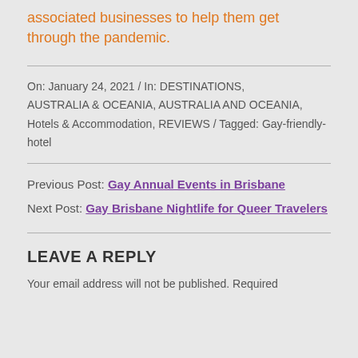associated businesses to help them get through the pandemic.
On: January 24, 2021 / In: DESTINATIONS, AUSTRALIA & OCEANIA, AUSTRALIA AND OCEANIA, Hotels & Accommodation, REVIEWS / Tagged: Gay-friendly-hotel
Previous Post: Gay Annual Events in Brisbane
Next Post: Gay Brisbane Nightlife for Queer Travelers
LEAVE A REPLY
Your email address will not be published. Required